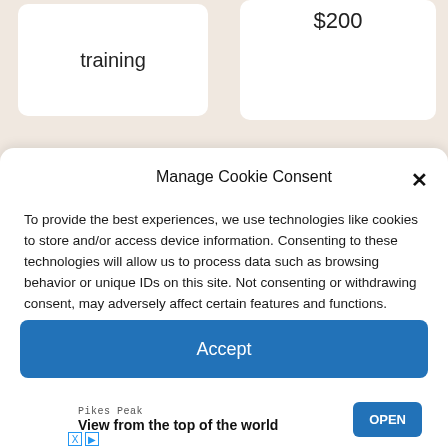training
$200
Manage Cookie Consent
To provide the best experiences, we use technologies like cookies to store and/or access device information. Consenting to these technologies will allow us to process data such as browsing behavior or unique IDs on this site. Not consenting or withdrawing consent, may adversely affect certain features and functions.
Accept
Pikes Peak
View from the top of the world
OPEN